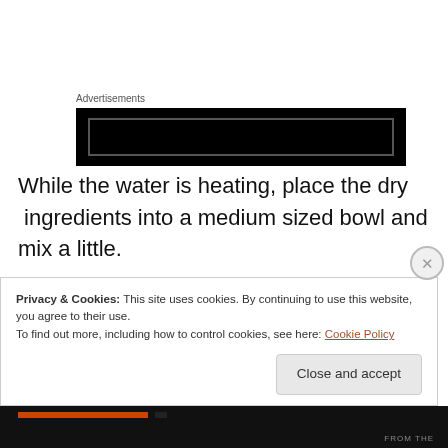Advertisements
[Figure (other): Black advertisement banner block with dark inner rectangle]
While the water is heating, place the dry  ingredients into a medium sized bowl and mix a little.
When the water is boiling and all the fat is melted, add it all at once to the flour and immediately stir until it forms a ball that comes away from the sides of the bowl. I like a
Privacy & Cookies: This site uses cookies. By continuing to use this website, you agree to their use.
To find out more, including how to control cookies, see here: Cookie Policy
Close and accept